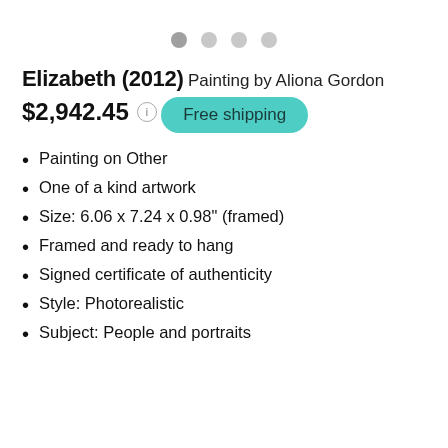Elizabeth (2012)
Painting
by Aliona Gordon
$2,942.45
Free shipping
Painting on Other
One of a kind artwork
Size: 6.06 x 7.24 x 0.98" (framed)
Framed and ready to hang
Signed certificate of authenticity
Style: Photorealistic
Subject: People and portraits